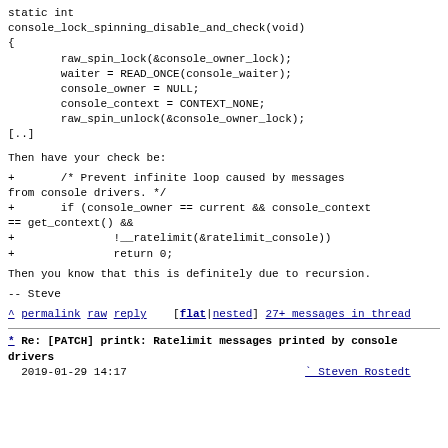static int
console_lock_spinning_disable_and_check(void)
{
        raw_spin_lock(&console_owner_lock);
        waiter = READ_ONCE(console_waiter);
        console_owner = NULL;
        console_context = CONTEXT_NONE;
        raw_spin_unlock(&console_owner_lock);
[..]
Then have your check be:
+       /* Prevent infinite loop caused by messages from console drivers. */
+       if (console_owner == current && console_context== get_context() &&
+               !__ratelimit(&ratelimit_console))
+               return 0;
Then you know that this is definitely due to recursion.
-- Steve
^ permalink raw reply   [flat|nested] 27+ messages in thread
* Re: [PATCH] printk: Ratelimit messages printed by console drivers
  2019-01-29 14:17                           ` Steven Rostedt